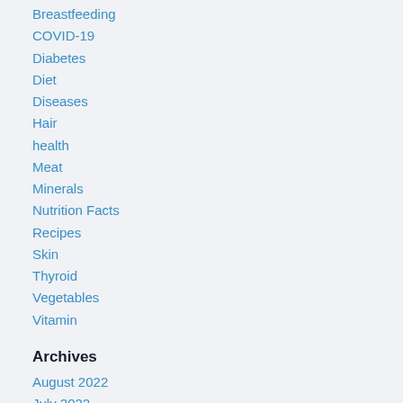Breastfeeding
COVID-19
Diabetes
Diet
Diseases
Hair
health
Meat
Minerals
Nutrition Facts
Recipes
Skin
Thyroid
Vegetables
Vitamin
Archives
August 2022
July 2022
June 2022
May 2022
April 2022